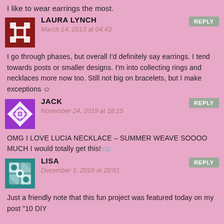I like to wear earrings the most.
LAURA LYNCH
March 14, 2013 at 04:43
I go through phases, but overall I'd definitely say earrings. I tend towards posts or smaller designs. I'm into collecting rings and necklaces more now too. Still not big on bracelets, but I make exceptions ☺
JACK
November 24, 2019 at 18:15
OMG I LOVE LUCIA NECKLACE – SUMMER WEAVE SOOOO MUCH I would totally get this!top
LISA
December 1, 2019 at 20:01
Just a friendly note that this fun project was featured today on my post “10 DIY